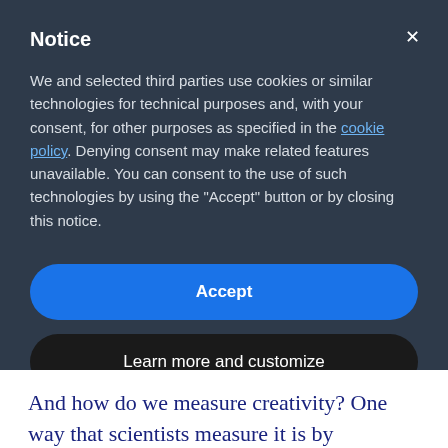Notice
We and selected third parties use cookies or similar technologies for technical purposes and, with your consent, for other purposes as specified in the cookie policy. Denying consent may make related features unavailable. You can consent to the use of such technologies by using the "Accept" button or by closing this notice.
Accept
Learn more and customize
And how do we measure creativity? One way that scientists measure it is by assessing whether people can find a common word that relates to three concepts by different...